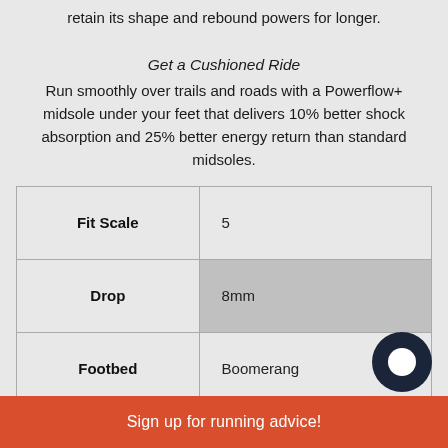retain its shape and rebound powers for longer.

Get a Cushioned Ride
Run smoothly over trails and roads with a Powerflow+ midsole under your feet that delivers 10% better shock absorption and 25% better energy return than standard midsoles.
|  |  |
| --- | --- |
| Fit Scale | 5 |
| Drop | 8mm |
| Footbed | Boomerang |
| [partial] | [partial] |
Sign up for running advice!